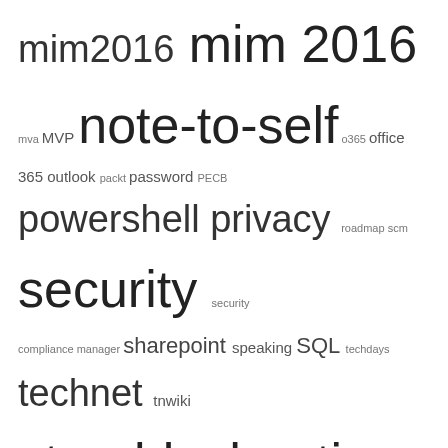mim2016 mim 2016 mva MVP note-to-self o365 office 365 outlook packt password PECB powershell privacy roadmap scm security security compliance manager sharepoint speaking SQL techdays technet tnwiki tools troubleshooting webinar wiki winsec
MY FAVORITE LINKS
Current Forefront Identity Manager Resources
Current CLM resources
Current ILM resources
ILM FIM Glossary
FIM 2010 webcasts
Winsec.be
Identity Underground